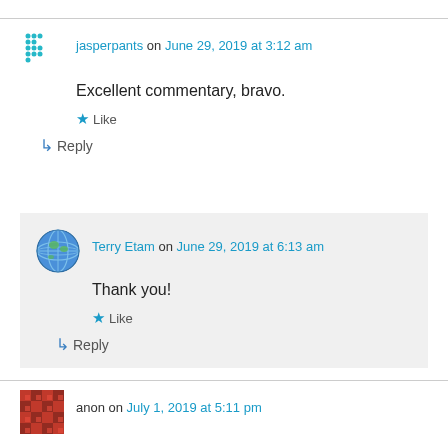jasperpants on June 29, 2019 at 3:12 am
Excellent commentary, bravo.
Like
Reply
Terry Etam on June 29, 2019 at 6:13 am
Thank you!
Like
Reply
anon on July 1, 2019 at 5:11 pm